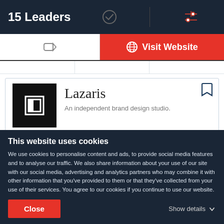15 Leaders
Visit Website
Lazaris
An independent brand design studio.
| Min. Project Size | Hourly Rate |
| --- | --- |
| $10,000+ | Undisclosed |
| 2 - 9 | Portland, OR |
This website uses cookies
We use cookies to personalise content and ads, to provide social media features and to analyse our traffic. We also share information about your use of our site with our social media, advertising and analytics partners who may combine it with other information that you've provided to them or that they've collected from your use of their services. You agree to our cookies if you continue to use our website.
Close
Show details